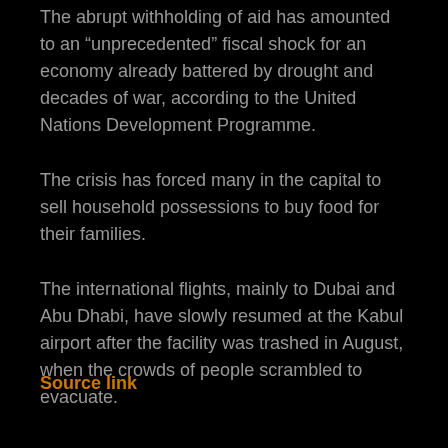The abrupt withholding of aid has amounted to an "unprecedented" fiscal shock for an economy already battered by drought and decades of war, according to the United Nations Development Programme.
The crisis has forced many in the capital to sell household possessions to buy food for their families.
The international flights, mainly to Dubai and Abu Dhabi, have slowly resumed at the Kabul airport after the facility was trashed in August, when the crowds of people scrambled to evacuate.
Source link